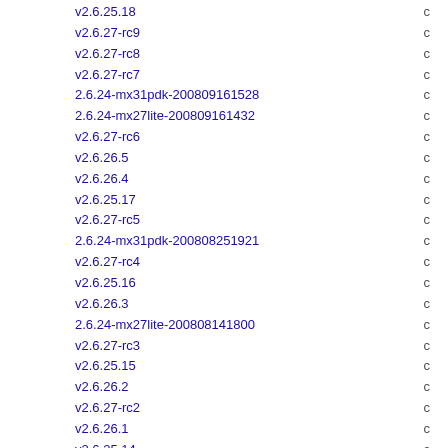v2.6.25.18 c
v2.6.27-rc9 c
v2.6.27-rc8 c
v2.6.27-rc7 c
2.6.24-mx31pdk-200809161528 c
2.6.24-mx27lite-200809161432 c
v2.6.27-rc6 c
v2.6.26.5 c
v2.6.26.4 c
v2.6.25.17 c
v2.6.27-rc5 c
2.6.24-mx31pdk-200808251921 c
v2.6.27-rc4 c
v2.6.25.16 c
v2.6.26.3 c
2.6.24-mx27lite-200808141800 c
v2.6.27-rc3 c
v2.6.25.15 c
v2.6.26.2 c
v2.6.27-rc2 c
v2.6.26.1 c
v2.6.25.14 c
v2.6.27-rc1 c
v2.6.25.13 c
v2.6.25.12 c